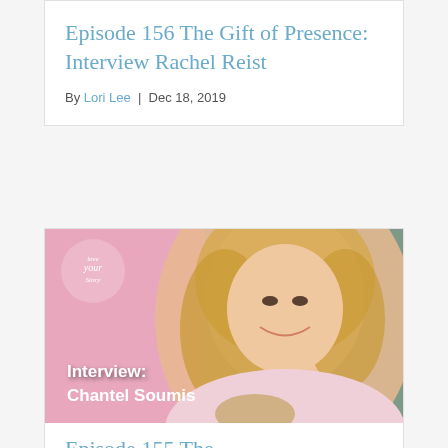Episode 156 The Gift of Presence: Interview Rachel Reist
By Lori Lee  |  Dec 18, 2019
[Figure (photo): Podcast cover image showing a smiling blonde woman with text overlay reading 'Interview: Chantel Soumis' and a Love Your Story logo in the top left corner]
Episode 155 The